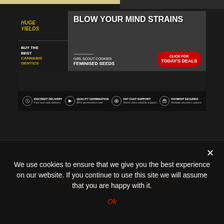[Figure (infographic): Cannabis seed bank advertisement banner. Left side shows 'HUGE YIELDS' text and 'BUY THE BEST CANNABIS GENTICS' text. Right side shows 'BLOW YOUR MIND STRAINS' headline, 'GIRL SCOUT COOKIES FEMINISED SEEDS' product info, and a red 'CLICK FOR TODAY'S DEALS' CTA button. Bottom strip shows four features: Discreet Delivery, Quality Germination, 24/7 Chat Support, Payment Secured.]
Ontario Seed Bank
We use cookies to ensure that we give you the best experience on our website. If you continue to use this site we will assume that you are happy with it.
Ok